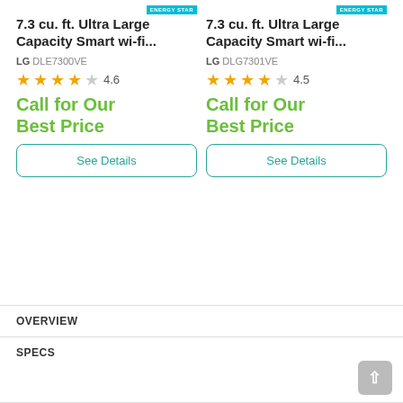[Figure (screenshot): Product listing card: LG DLE7300VE dryer with Energy Star badge, 4.6 star rating, Call for Our Best Price, See Details button]
[Figure (screenshot): Product listing card: LG DLG7301VE dryer with Energy Star badge, 4.5 star rating, Call for Our Best Price, See Details button]
OVERVIEW
SPECS